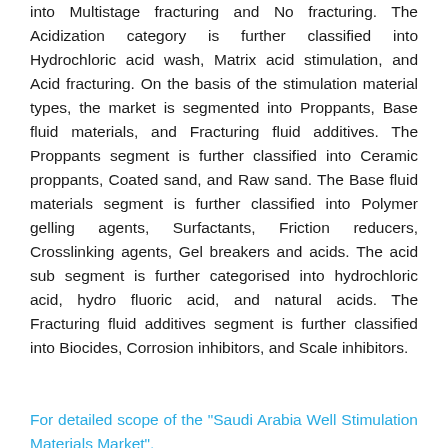into Multistage fracturing and No fracturing. The Acidization category is further classified into Hydrochloric acid wash, Matrix acid stimulation, and Acid fracturing. On the basis of the stimulation material types, the market is segmented into Proppants, Base fluid materials, and Fracturing fluid additives. The Proppants segment is further classified into Ceramic proppants, Coated sand, and Raw sand. The Base fluid materials segment is further classified into Polymer gelling agents, Surfactants, Friction reducers, Crosslinking agents, Gel breakers and acids. The acid sub segment is further categorised into hydrochloric acid, hydro fluoric acid, and natural acids. The Fracturing fluid additives segment is further classified into Biocides, Corrosion inhibitors, and Scale inhibitors.
For detailed scope of the "Saudi Arabia Well Stimulation Materials Market",